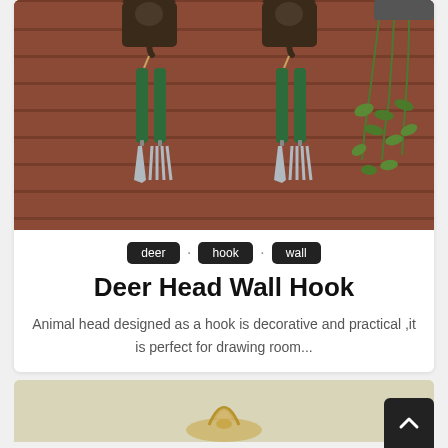[Figure (photo): Photo of two deer head cast iron wall hooks mounted on a wooden slatted wall, each holding two garden tools with green handles (trowel and cultivator), with hanging green plants on the right side.]
deer · hook · wall
Deer Head Wall Hook
Animal head designed as a hook is decorative and practical ,it is perfect for drawing room...
[Figure (photo): Partial view of another product card below, showing a golden/brass decorative item on a light background.]